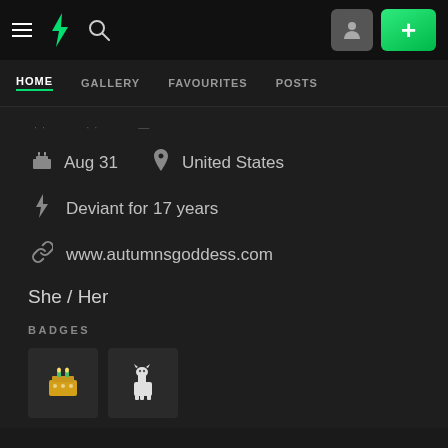DeviantArt navigation bar with hamburger menu, DA logo, search icon, profile button, and plus button
HOME  GALLERY  FAVOURITES  POSTS
Aug 31    United States
Deviant for 17 years
www.autumnsgoddess.com
She / Her
BADGES
[Figure (illustration): Two badge icons: a yellow/green cake badge and a llama badge on dark square backgrounds]